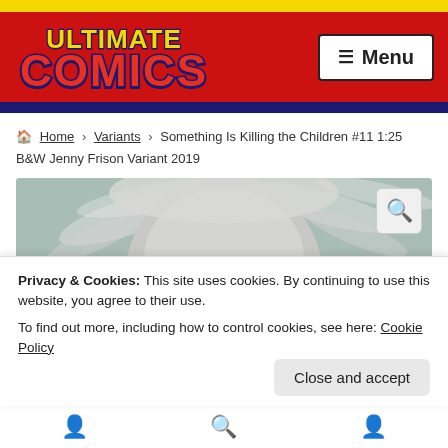[Figure (logo): Ultimate Comics logo with red and navy colors on red header background]
≡  Menu
🏠 Home › Variants › Something Is Killing the Children #11 1:25 B&W Jenny Frison Variant 2019
[Figure (illustration): Black and white comic book cover art showing a close-up of a white-haired female character with dramatic eyes]
Privacy & Cookies: This site uses cookies. By continuing to use this website, you agree to their use.
To find out more, including how to control cookies, see here: Cookie Policy
Close and accept